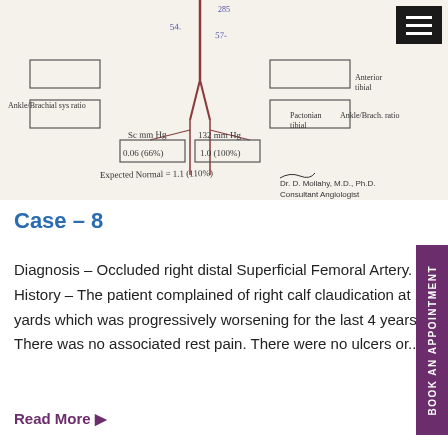[Figure (illustration): Handwritten medical diagram showing ankle-brachial pressure index (ABI) measurement chart with labeled anatomical regions, blood pressure boxes, handwritten values including 'Sc mm Hg', '0.06 (66%)', '1.0 (100%)', '132 mm Hg', 'Expected Normal = 1.1 (110%)', 'Pactonian tibial', 'Anterior tibial', 'Ankle/Brachial ratio' labels, and a signature reading 'Dr. D. Mollahy, M.D., Ph.D., Consultant Angiologist']
Case – 8
Diagnosis – Occluded right distal Superficial Femoral Artery. History – The patient complained of right calf claudication at 100 yards which was progressively worsening for the last 4 years. There was no associated rest pain. There were no ulcers or...
Read More ▶